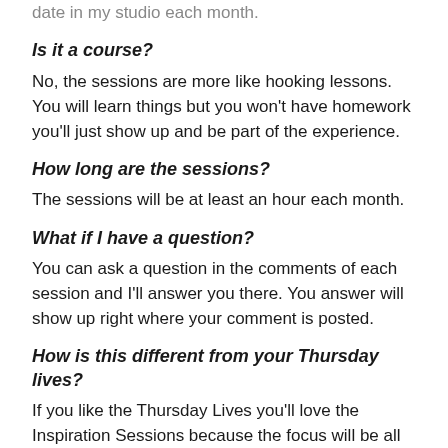date in my studio each month.
Is it a course?
No, the sessions are more like hooking lessons. You will learn things but you won't have homework you'll just show up and be part of the experience.
How long are the sessions?
The sessions will be at least an hour each month.
What if I have a question?
You can ask a question in the comments of each session and I'll answer you there. You answer will show up right where your comment is posted.
How is this different from your Thursday lives?
If you like the Thursday Lives you'll love the Inspiration Sessions because the focus will be all on the hooking in a one hour recorded video. It will be like an hour alone with me in my studio and will feel like a one on one visit.
How is it different than the Harbour?